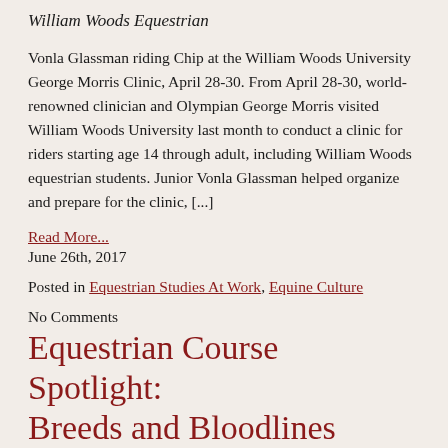William Woods Equestrian
Vonla Glassman riding Chip at the William Woods University George Morris Clinic, April 28-30. From April 28-30, world-renowned clinician and Olympian George Morris visited William Woods University last month to conduct a clinic for riders starting age 14 through adult, including William Woods equestrian students. Junior Vonla Glassman helped organize and prepare for the clinic, [...]
Read More...
June 26th, 2017
Posted in Equestrian Studies At Work, Equine Culture
No Comments
Equestrian Course Spotlight: Breeds and Bloodlines